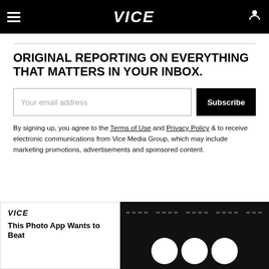VICE
ORIGINAL REPORTING ON EVERYTHING THAT MATTERS IN YOUR INBOX.
By signing up, you agree to the Terms of Use and Privacy Policy & to receive electronic communications from Vice Media Group, which may include marketing promotions, advertisements and sponsored content.
[Figure (screenshot): VICE branded card with text: This Photo App Wants to Beat alongside a dark image with dashed lines and circular shapes]